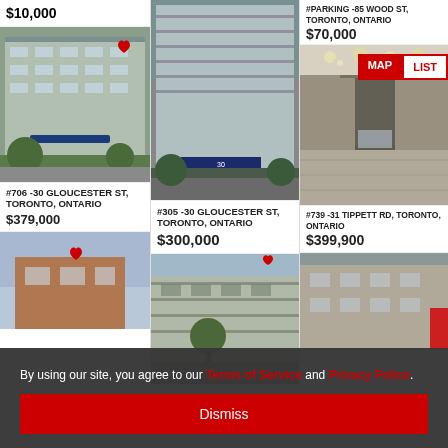$10,000
[Figure (photo): Exterior photo of a multi-storey apartment building with blue signage and landscaping]
#706 -30 GLOUCESTER ST, TORONTO, ONTARIO
$379,000
[Figure (photo): Partial view of a brick building with a red heart logo and blue sky]
[Figure (photo): Exterior photo of a high-rise residential building]
#305 -30 GLOUCESTER ST, TORONTO, ONTARIO
$300,000
[Figure (photo): Exterior photo of a multi-storey residential building with trees and driveway]
#PARKING -85 WOOD ST, TORONTO, ONTARIO
$70,000
[Figure (photo): Interior lobby photo with decorative ceiling lights and marble floors]
#739 -31 TIPPETT RD, TORONTO, ONTARIO
$399,900
[Figure (photo): Partial exterior view of a building]
By using our site, you agree to our Terms of Service and Privacy Police.
Dismiss